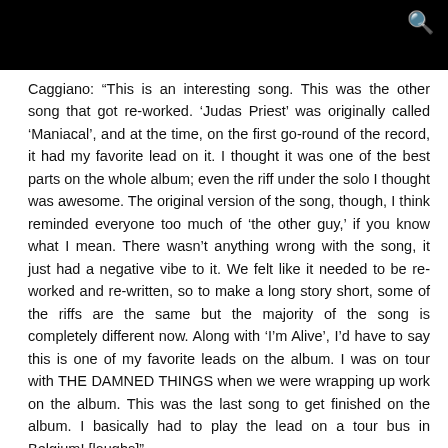Caggiano: “This is an interesting song. This was the other song that got re-worked. ‘Judas Priest’ was originally called ‘Maniacal’, and at the time, on the first go-round of the record, it had my favorite lead on it. I thought it was one of the best parts on the whole album; even the riff under the solo I thought was awesome. The original version of the song, though, I think reminded everyone too much of ‘the other guy,’ if you know what I mean. There wasn’t anything wrong with the song, it just had a negative vibe to it. We felt like it needed to be re-worked and re-written, so to make a long story short, some of the riffs are the same but the majority of the song is completely different now. Along with ‘I’m Alive’, I’d have to say this is one of my favorite leads on the album. I was on tour with THE DAMNED THINGS when we were wrapping up work on the album. This was the last song to get finished on the album. I basically had to play the lead on a tour bus in Belgium! [laughs]”
The Omega Order is offering an exclusive pre-order bundle for “Worship Music”, featuring the new CD; “Fistful Of Metal” triple 10-